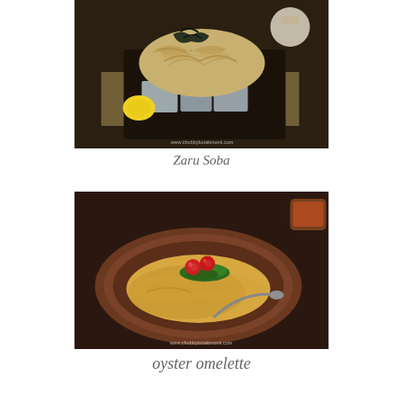[Figure (photo): Photo of Zaru Soba dish: buckwheat noodles piled high on a dark plate with ice cubes, garnished with shredded nori seaweed on top, with a lemon and other dishes visible in the background. Watermark reads www.chubbybotakmonk.com]
Zaru Soba
[Figure (photo): Photo of oyster omelette dish: a golden egg omelette on a brown ceramic plate, topped with cherry tomatoes and chopped green herbs/chives, with a spoon resting on the plate. A small dish of sauce is visible in the top right corner. Watermark reads www.chubbybotakmonk.com]
oyster omelette